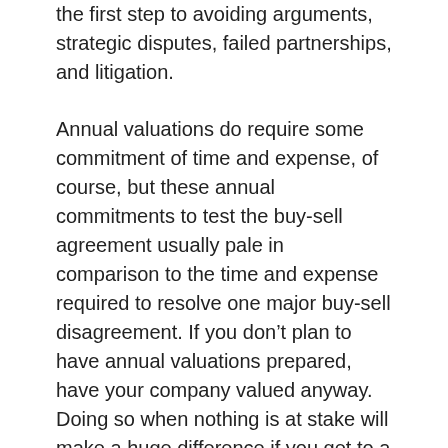the first step to avoiding arguments, strategic disputes, failed partnerships, and litigation.
Annual valuations do require some commitment of time and expense, of course, but these annual commitments to test the buy-sell agreement usually pale in comparison to the time and expense required to resolve one major buy-sell disagreement. If you don’t plan to have annual valuations prepared, have your company valued anyway. Doing so when nothing is at stake will make a huge difference if you get to a situation where everything is at stake.
Most of the shareholder agreement disputes we are involved in start with dramatically different expectations regarding how the valuation will be handled. Going ahead and having a valuation prepared will help to center, or reconcile, those expectations and might even